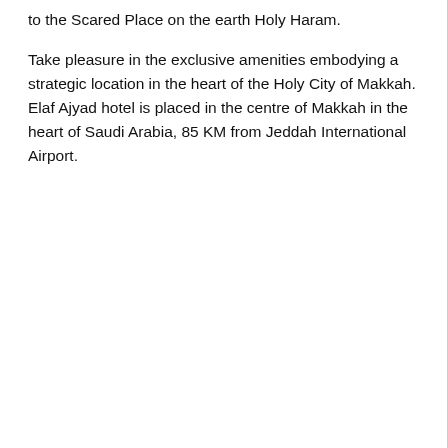to the Scared Place on the earth Holy Haram.
Take pleasure in the exclusive amenities embodying a strategic location in the heart of the Holy City of Makkah. Elaf Ajyad hotel is placed in the centre of Makkah in the heart of Saudi Arabia, 85 KM from Jeddah International Airport.